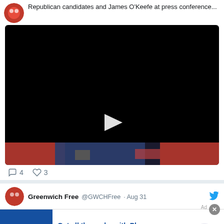Republican candidates and James O'Keefe at press conference...
[Figure (screenshot): Black video player with white play button triangle in center, showing bottom strip with red and blue clothing colors]
4  3
Greenwich Free  @GWCHFree  · Aug 31
[Figure (screenshot): Sam's Club advertisement: Get all the perks with Plus. Free Shipping. Every day at SamsamsClub.com. Exclusions apply. www.samsclub.com]